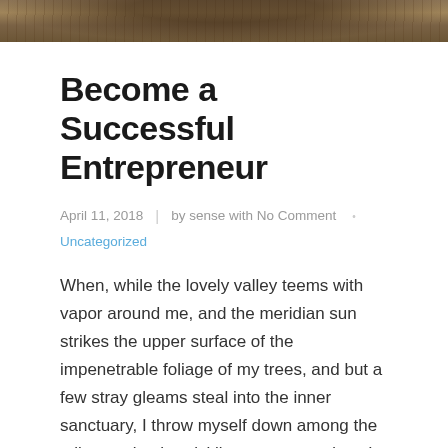[Figure (photo): Hero image showing a person standing outdoors in a natural/rugged landscape with earthy brown tones]
Become a Successful Entrepreneur
April 11, 2018  |  by sense with No Comment  •  Uncategorized
When, while the lovely valley teems with vapor around me, and the meridian sun strikes the upper surface of the impenetrable foliage of my trees, and but a few stray gleams steal into the inner sanctuary, I throw myself down among the tall grass by the trickling stream; and, as I lie close to the earth, a thousand unknown plants are noticed by me: when I hear